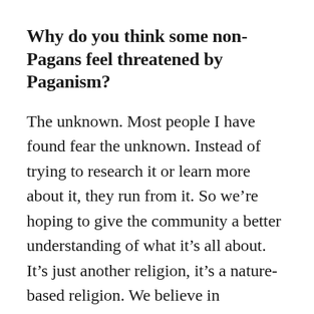Why do you think some non-Pagans feel threatened by Paganism?
The unknown. Most people I have found fear the unknown. Instead of trying to research it or learn more about it, they run from it. So we're hoping to give the community a better understanding of what it's all about. It's just another religion, it's a nature-based religion. We believe in everything that has to do with nature. We don't believe in the devil. We don't believe in hell. The devil was